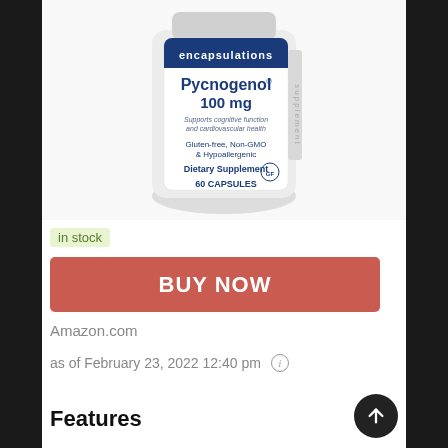[Figure (photo): Product bottle of Pure Encapsulations Pycnogenol 100 mg dietary supplement, 60 capsules. Label shows: Supports cognitive function and cardiovascular health, Gluten-free, Non-GMO & Hypoallergenic, Dietary Supplement.]
in stock
BUY NOW
Amazon.com
as of February 23, 2022 12:40 pm
Features